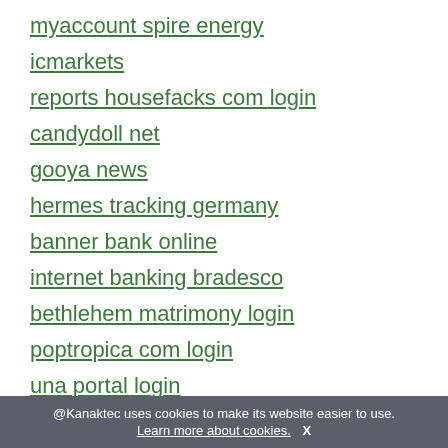myaccount spire energy
icmarkets
reports housefacks com login
candydoll net
gooya news
hermes tracking germany
banner bank online
internet banking bradesco
bethlehem matrimony login
poptropica com login
una portal login
parperfeito relacionamento
mycoles login hours
@Kanaktec uses cookies to make its website easier to use. Learn more about cookies. X